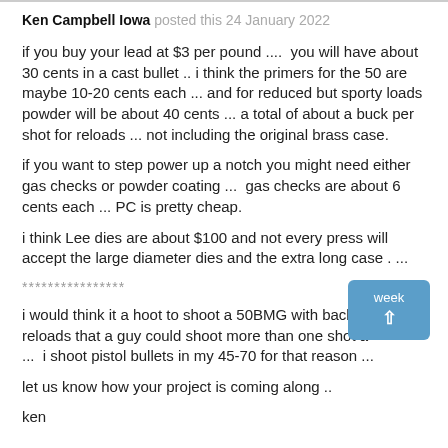Ken Campbell Iowa posted this 24 January 2022
if you buy your lead at $3 per pound ....  you will have about 30 cents in a cast bullet .. i think the primers for the 50 are maybe 10-20 cents each ... and for reduced but sporty loads powder will be about 40 cents ... a total of about a buck per shot for reloads ... not including the original brass case.
if you want to step power up a notch you might need either gas checks or powder coating ...  gas checks are about 6 cents each ... PC is pretty cheap.
i think Lee dies are about $100 and not every press will accept the large diameter dies and the extra long case . ...
****************
i would think it a hoot to shoot a 50BMG with backed off reloads that a guy could shoot more than one shot a week ...  i shoot pistol bullets in my 45-70 for that reason ...
let us know how your project is coming along ..
ken